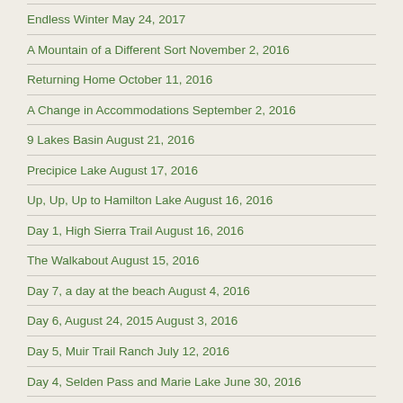Endless Winter May 24, 2017
A Mountain of a Different Sort November 2, 2016
Returning Home October 11, 2016
A Change in Accommodations September 2, 2016
9 Lakes Basin August 21, 2016
Precipice Lake August 17, 2016
Up, Up, Up to Hamilton Lake August 16, 2016
Day 1, High Sierra Trail August 16, 2016
The Walkabout August 15, 2016
Day 7, a day at the beach August 4, 2016
Day 6, August 24, 2015 August 3, 2016
Day 5, Muir Trail Ranch July 12, 2016
Day 4, Selden Pass and Marie Lake June 30, 2016
Day 3, a change of plans... June 27, 2016